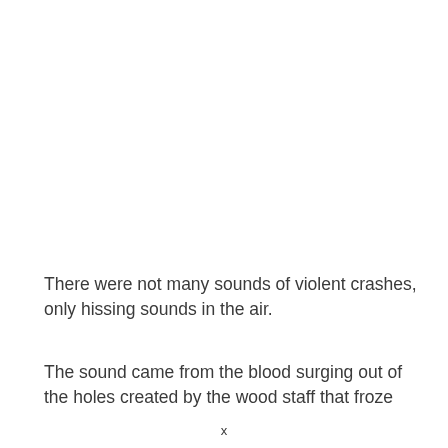There were not many sounds of violent crashes, only hissing sounds in the air.
The sound came from the blood surging out of the holes created by the wood staff that froze
x